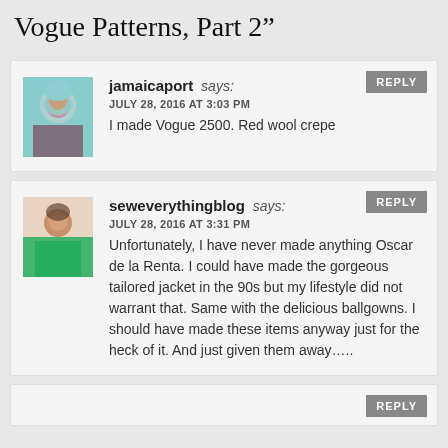Vogue Patterns, Part 2”
jamaicaport says:
JULY 28, 2016 AT 3:03 PM
I made Vogue 2500. Red wool crepe
seweverythingblog says:
JULY 28, 2016 AT 3:31 PM
Unfortunately, I have never made anything Oscar de la Renta. I could have made the gorgeous tailored jacket in the 90s but my lifestyle did not warrant that. Same with the delicious ballgowns. I should have made these items anyway just for the heck of it. And just given them away.....
[partial comment with REPLY button]